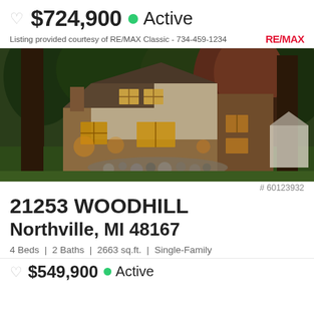$724,900 • Active
Listing provided courtesy of RE/MAX Classic - 734-459-1234   RE/MAX
[Figure (photo): Exterior photo of a two-story brick and siding home at dusk with warm interior lighting, surrounded by large trees and a circular rock garden in the foreground]
# 60123932
21253 WOODHILL
Northville, MI 48167
4 Beds | 2 Baths | 2663 sq.ft. | Single-Family
$549,900 • Active